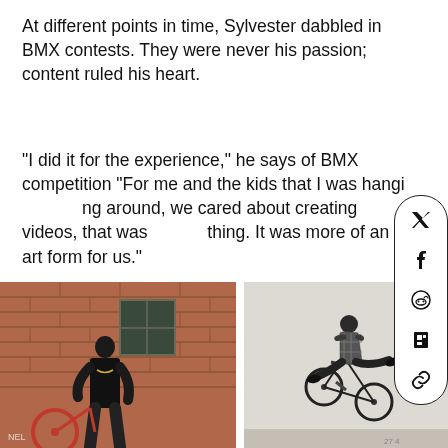At different points in time, Sylvester dabbled in BMX contests. They were never his passion; content ruled his heart.
“I did it for the experience,” he says of BMX competition “For me and the kids that I was hanging around, we cared about creating videos, that was the thing. It was more of an art form for us.”
[Figure (photo): A man in a black t-shirt stands in front of a brick building holding a red BMX bike]
[Figure (photo): A person in a plaid shirt performing a BMX trick in the air against a light grey sky]